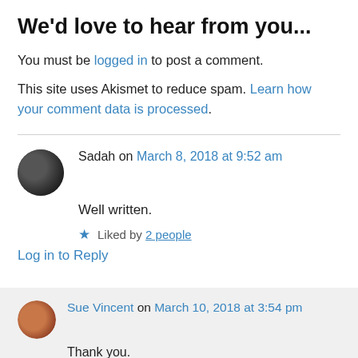We'd love to hear from you...
You must be logged in to post a comment.
This site uses Akismet to reduce spam. Learn how your comment data is processed.
Sadah on March 8, 2018 at 9:52 am
Well written.
★ Liked by 2 people
Log in to Reply
Sue Vincent on March 10, 2018 at 3:54 pm
Thank you.